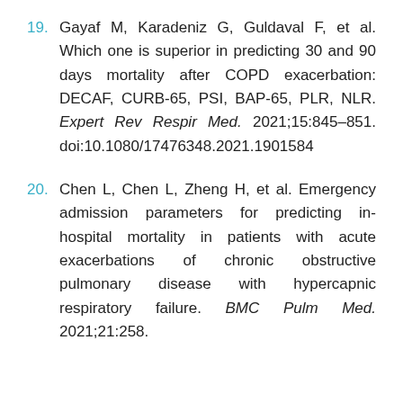19. Gayaf M, Karadeniz G, Guldaval F, et al. Which one is superior in predicting 30 and 90 days mortality after COPD exacerbation: DECAF, CURB-65, PSI, BAP-65, PLR, NLR. Expert Rev Respir Med. 2021;15:845–851. doi:10.1080/17476348.2021.1901584
20. Chen L, Chen L, Zheng H, et al. Emergency admission parameters for predicting in-hospital mortality in patients with acute exacerbations of chronic obstructive pulmonary disease with hypercapnic respiratory failure. BMC Pulm Med. 2021;21:258.